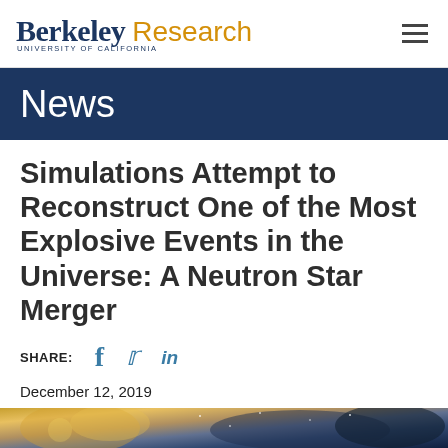Berkeley Research — University of California
News
Simulations Attempt to Reconstruct One of the Most Explosive Events in the Universe: A Neutron Star Merger
SHARE: f  t  in
December 12, 2019
By: Glenn Roberts Jr.
[Figure (photo): Abstract space/cosmic image showing golden and blue/dark tones, partial view at bottom of page]